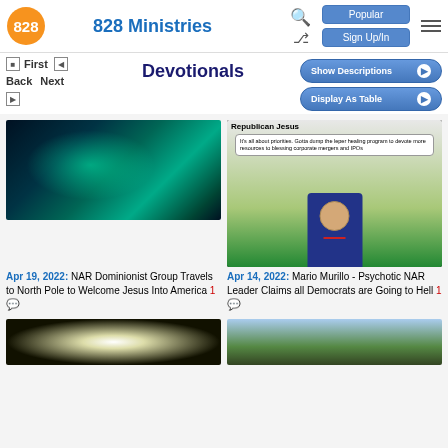828 Ministries
Devotionals
First Back Next
[Figure (screenshot): Buttons: Show Descriptions, Display As Table]
[Figure (photo): Aurora borealis with silhouette of person on mountain]
Apr 19, 2022: NAR Dominionist Group Travels to North Pole to Welcome Jesus Into America 1 [comment]
[Figure (illustration): Republican Jesus cartoon - figure in suit with speech bubble about priorities and leper healing program]
Apr 14, 2022: Mario Murillo - Psychotic NAR Leader Claims all Democrats are Going to Hell 1 [comment]
[Figure (photo): Bottom left: light/torch photo]
[Figure (photo): Bottom right: man portrait outdoors]